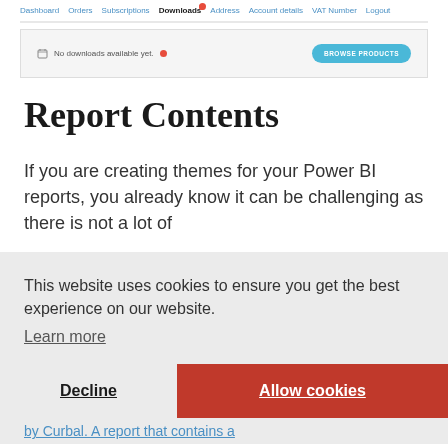[Figure (screenshot): Website navigation bar showing links: Dashboard, Orders, Subscriptions, Downloads (active with red notification dot), Address, Account details, VAT Number, Logout]
[Figure (screenshot): Downloads area showing 'No downloads available yet.' message with a calendar icon and red dot, and a teal 'BROWSE PRODUCTS' button on the right]
Report Contents
If you are creating themes for your Power BI reports, you already know it can be challenging as there is not a lot of
This website uses cookies to ensure you get the best experience on our website.
Learn more
Decline
Allow cookies
by Curbal. A report that contains a